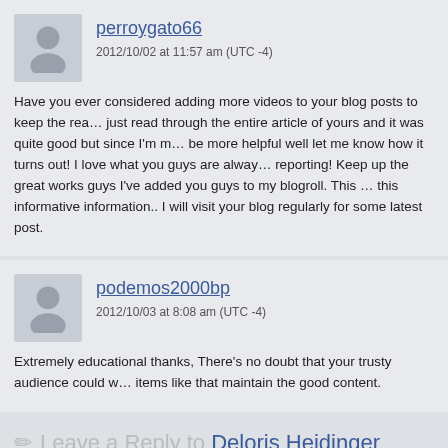perroygato66
2012/10/02 at 11:57 am (UTC -4)
Have you ever considered adding more videos to your blog posts to keep the readers more entertained? I just read through the entire article of yours and it was quite good but since I’m more of a visual learner, be more helpful well let me know how it turns out! I love what you guys are always up too. Such clever work and reporting! Keep up the great works guys I’ve added you guys to my blogroll. This is a great article thanks for sharing this informative information.. I will visit your blog regularly for some latest post.
podemos2000bp
2012/10/03 at 8:08 am (UTC -4)
Extremely educational thanks, There’s no doubt that your trusty audience could want more items like that maintain the good content.
✏ Leave a Reply to Deloris Heidinger
Cancel reply
Your email address will not be published. Required fields are marked *
Message: *